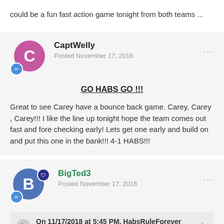could be a fun fast action game tonight from both teams ...
CaptWelly
Posted November 17, 2018
GO HABS GO !!!
Great to see Carey have a bounce back game. Carey, Carey , Carey!!! I like the line up tonight hope the team comes out fast and fore checking early! Lets get one early and build on and put this one in the bank!!! 4-1 HABS!!!
BigTed3
Posted November 17, 2018
On 11/17/2018 at 5:45 PM, HabsRuleForever said: